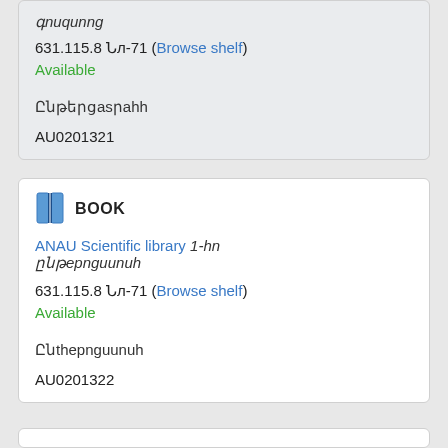գnuqunng
631.115.8 Նл-71 (Browse shelf)
Available
Ընթերցասրահ
AU0201321
BOOK
ANAU Scientific library 1-ին ընթերցասրահ
631.115.8 Նл-71 (Browse shelf)
Available
Ընթերցասրահ
AU0201322